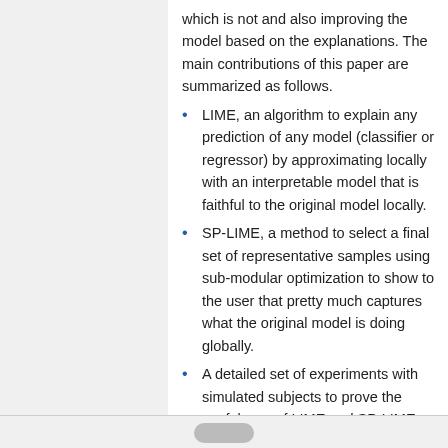which is not and also improving the model based on the explanations. The main contributions of this paper are summarized as follows.
LIME, an algorithm to explain any prediction of any model (classifier or regressor) by approximating locally with an interpretable model that is faithful to the original model locally.
SP-LIME, a method to select a final set of representative samples using sub-modular optimization to show to the user that pretty much captures what the original model is doing globally.
A detailed set of experiments with simulated subjects to prove the usefulness of LIME and SP-LIME.